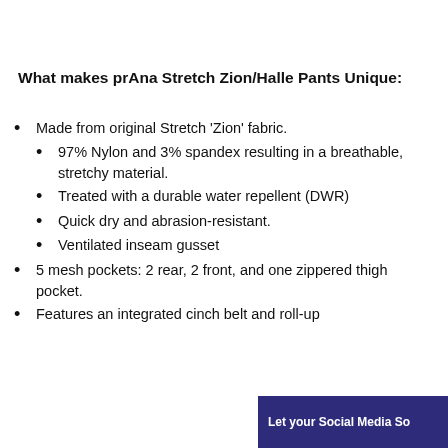What makes prAna Stretch Zion/Halle Pants Unique:
Made from original Stretch ‘Zion’ fabric.
97% Nylon and 3% spandex resulting in a breathable, stretchy material.
Treated with a durable water repellent (DWR)
Quick dry and abrasion-resistant.
Ventilated inseam gusset
5 mesh pockets: 2 rear, 2 front, and one zippered thigh pocket.
Features an integrated cinch belt and roll-up
Let your Social Media So